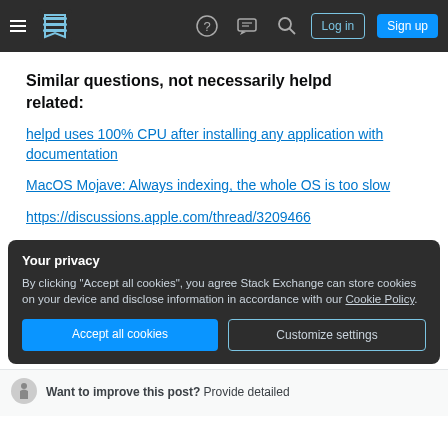Stack Exchange navigation bar with hamburger menu, logo, help icon, chat icon, search icon, Log in button, Sign up button
Similar questions, not necessarily helpd related:
helpd uses 100% CPU after installing any application with documentation
MacOS Mojave: Always indexing, the whole OS is too slow
https://discussions.apple.com/thread/3209466
Your privacy
By clicking "Accept all cookies", you agree Stack Exchange can store cookies on your device and disclose information in accordance with our Cookie Policy.
Accept all cookies   Customize settings
Want to improve this post? Provide detailed